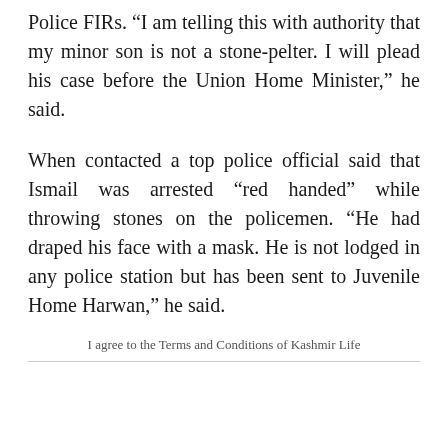Police FIRs. “I am telling this with authority that my minor son is not a stone-pelter. I will plead his case before the Union Home Minister,” he said.
When contacted a top police official said that Ismail was arrested “red handed” while throwing stones on the policemen. “He had draped his face with a mask. He is not lodged in any police station but has been sent to Juvenile Home Harwan,” he said.
I agree to the Terms and Conditions of Kashmir Life